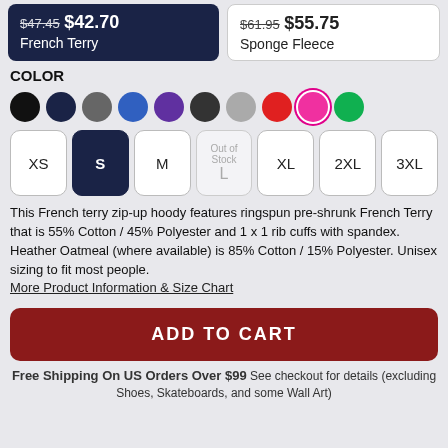$47.45 $42.70 French Terry (selected); $61.95 $55.75 Sponge Fleece
COLOR
[Figure (other): Color swatches: black, navy, dark grey, blue, purple, charcoal, light grey, red, hot pink (selected), green]
XS
S (selected)
M
L (Out of Stock)
XL
2XL
3XL
This French terry zip-up hoody features ringspun pre-shrunk French Terry that is 55% Cotton / 45% Polyester and 1 x 1 rib cuffs with spandex. Heather Oatmeal (where available) is 85% Cotton / 15% Polyester. Unisex sizing to fit most people.
More Product Information & Size Chart
ADD TO CART
Free Shipping On US Orders Over $99 See checkout for details (excluding Shoes, Skateboards, and some Wall Art)